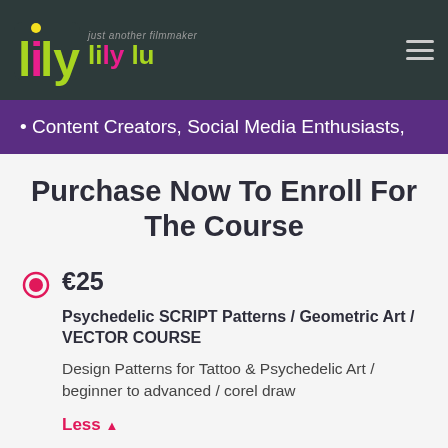just another filmmaker lily lu
• Content Creators, Social Media Enthusiasts,
Purchase Now To Enroll For The Course
€25
Psychedelic SCRIPT Patterns / Geometric Art / VECTOR COURSE
Design Patterns for Tattoo & Psychedelic Art / beginner to advanced / corel draw
Less ▲